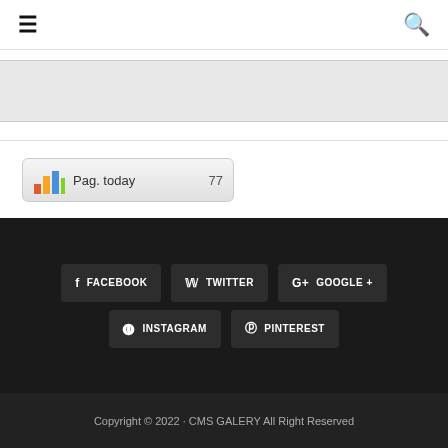≡ [hamburger menu] [search icon]
[Figure (screenshot): Gray banner/advertisement strip]
Pag. today  77
f FACEBOOK   𝕎 TWITTER   G+ GOOGLE +   ⊙ INSTAGRAM   ⊕ PINTEREST
Copyright © 2022 · CMS GALERY All Right Reserved